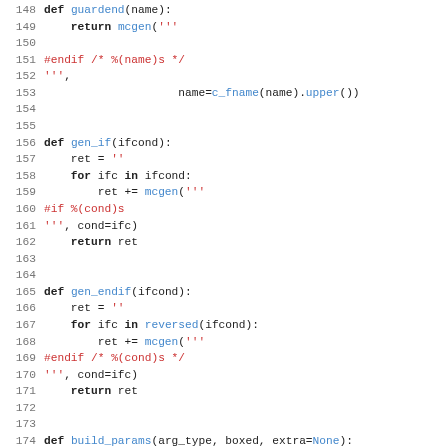[Figure (screenshot): Python source code listing, lines 148-179, showing functions guardend, gen_if, gen_endif, and build_params with syntax highlighting: keywords in bold black, function/variable names in blue, string literals and preprocessor directives in red, line numbers in gray.]